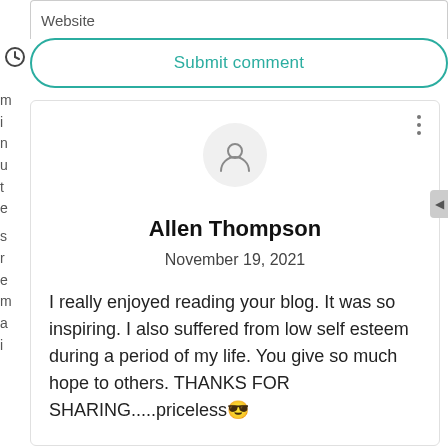Website
Submit comment
Allen Thompson
November 19, 2021
I really enjoyed reading your blog. It was so inspiring. I also suffered from low self esteem during a period of my life. You give so much hope to others. THANKS FOR SHARING.....priceless😎